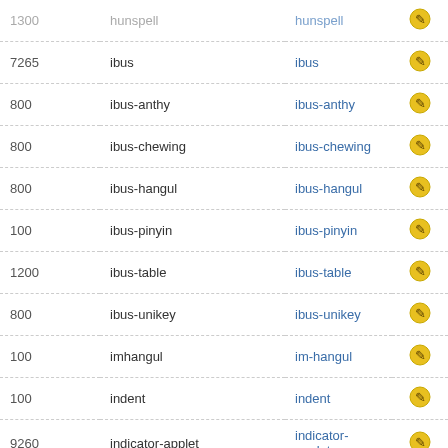|  |  |  |  |
| --- | --- | --- | --- |
| 1300 | hunspell | hunspell | icon |
| 7265 | ibus | ibus | icon |
| 800 | ibus-anthy | ibus-anthy | icon |
| 800 | ibus-chewing | ibus-chewing | icon |
| 800 | ibus-hangul | ibus-hangul | icon |
| 100 | ibus-pinyin | ibus-pinyin | icon |
| 1200 | ibus-table | ibus-table | icon |
| 800 | ibus-unikey | ibus-unikey | icon |
| 100 | imhangul | im-hangul | icon |
| 100 | indent | indent | icon |
| 9260 | indicator-applet | indicator-applet | icon |
| 9280 | indicator-datetime | indicator-datetime | icon |
| 9280 | indicator-me | indicator-me | icon |
| 9270 | indicator-messages | indicator-messages | icon |
| 9280 | indicator-session | indicator-session | icon |